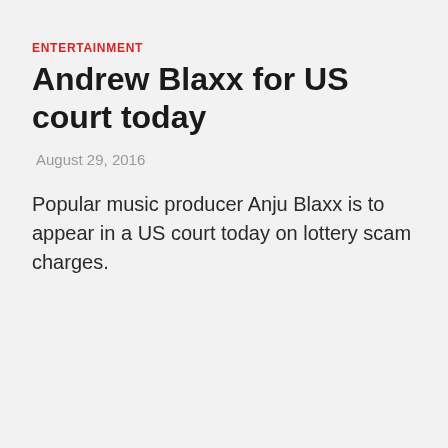ENTERTAINMENT
Andrew Blaxx for US court today
August 29, 2016
Popular music producer Anju Blaxx is to appear in a US court today on lottery scam charges.